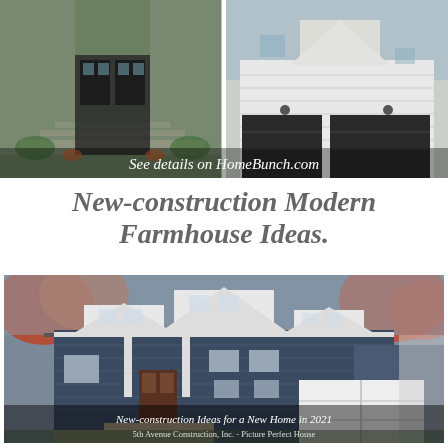[Figure (photo): Two side-by-side photos of modern farmhouse exteriors. Left: dark-framed front door with stone steps and flower pots. Right: white modern farmhouse with dark garage doors. Overlay text reads 'See details on HomeBunch.com'.]
New-construction Modern Farmhouse Ideas.
[Figure (photo): Large photo of a two-story navy blue modern farmhouse with white trim, multiple gables, and a white garage door, surrounded by autumn foliage. Bottom overlay: 'New-construction Ideas for a New Home in 2021' and '5th Avenue Construction, Inc. - Picture Perfect House'.]